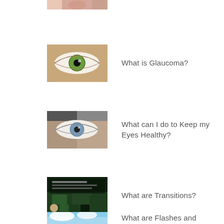[Figure (photo): Partial view of a face/eye at top of page, cropped]
[Figure (photo): Close-up of a green eye]
What is Glaucoma?
[Figure (photo): Close-up of a blue/grey eye]
What can I do to Keep my Eyes Healthy?
[Figure (photo): Transitions lenses promotional thumbnail with dark tinted lenses on dark background]
What are Transitions?
[Figure (photo): Sky with clouds thumbnail, partially visible]
What are Flashes and